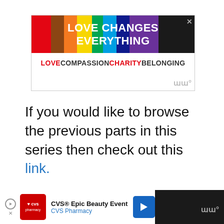[Figure (illustration): Love Changes Everything advertisement banner with rainbow-colored background showing 'LOVE CHANGES EVERYTHING' in white bold text, and 'LOVE COMPASSION CHARITY BELONGING' in red and black text below.]
If you would like to browse the previous parts in this series then check out this link.
J7 No Network Connection Error
[Figure (illustration): CVS Epic Beauty Event advertisement banner at the bottom of the page.]